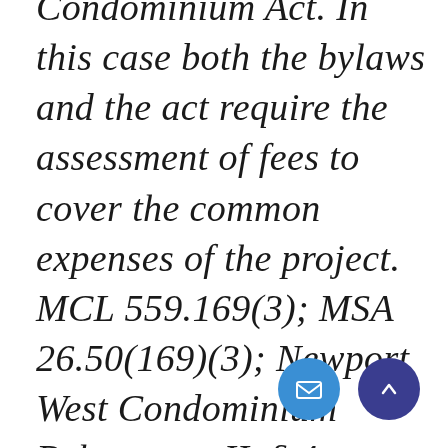Condominium Act. In this case both the bylaws and the act require the assessment of fees to cover the common expenses of the project. MCL 559.169(3); MSA 26.50(169)(3); Newport West Condominium Bylaws, art II, § 4. Under MCL 559.169(4); MSA 26.50(169)(4) a co-owner may not be exempted from